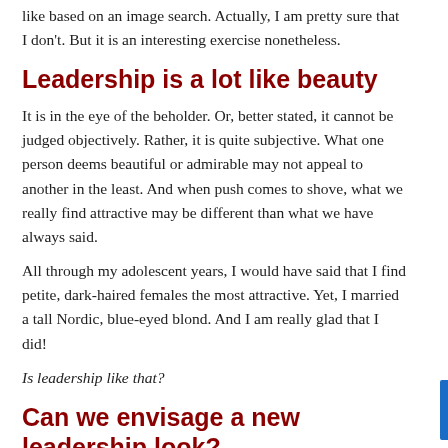like based on an image search. Actually, I am pretty sure that I don't. But it is an interesting exercise nonetheless.
Leadership is a lot like beauty
It is in the eye of the beholder. Or, better stated, it cannot be judged objectively. Rather, it is quite subjective. What one person deems beautiful or admirable may not appeal to another in the least. And when push comes to shove, what we really find attractive may be different than what we have always said.
All through my adolescent years, I would have said that I find petite, dark-haired females the most attractive. Yet, I married a tall Nordic, blue-eyed blond. And I am really glad that I did!
Is leadership like that?
Can we envisage a new leadership look?